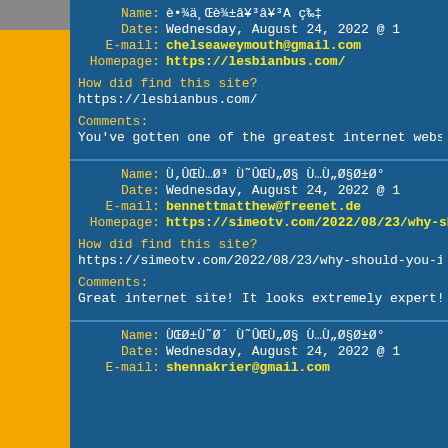Name: è•¾ä¸è¾±â¥³â¥³A ç‰‡
Date: Wednesday, August 24, 2022 @ 1
E-mail: chelseaweymouth@gmail.com
Homepage: https://lesbianbus.com/
How did find this site?
https://lesbianbus.com/
Comments:
You've gotten one of the greatest internet websites.
Name: Ù‚ÛŒÙ…Ø³ Ù˜ÛŒÙ„Ø§ Ù…Ù„Ø§Ø±Ø°
Date: Wednesday, August 24, 2022 @ 1
E-mail: bennettmatthew@freenet.de
Homepage: https://simeotv.com/2022/08/23/why-sh
How did find this site?
https://simeotv.com/2022/08/23/why-should-you-inve
Comments:
Great internet site! It looks extremely expert! Maintai
Name: ÙŒØ±Ù˜Ø´ Ù˜ÛŒÙ„Ø§ Ù…Ù„Ø§Ø±Ø°
Date: Wednesday, August 24, 2022 @ 1
E-mail: shennakrier@gmail.com